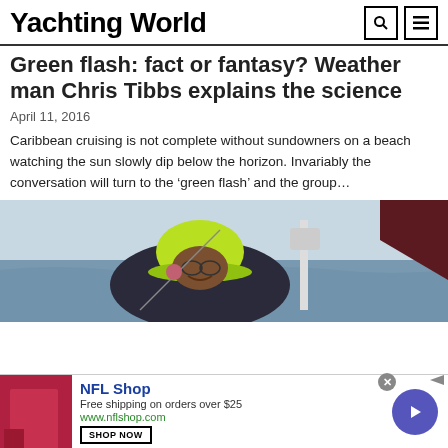Yachting World
Green flash: fact or fantasy? Weather man Chris Tibbs explains the science
April 11, 2016
Caribbean cruising is not complete without sundowners on a beach watching the sun slowly dip below the horizon. Invariably the conversation will turn to the ‘green flash’ and the group...
[Figure (photo): Person wearing a bright yellow/green rain hat and dark jacket on a boat at sea, smiling, with nautical equipment visible in background]
[Figure (infographic): NFL Shop advertisement banner: red NFL Shop logo image, NFL Shop brand name in blue, text 'Free shipping on orders over $25', URL www.nflshop.com, SHOP NOW button, blue circular arrow button on right]